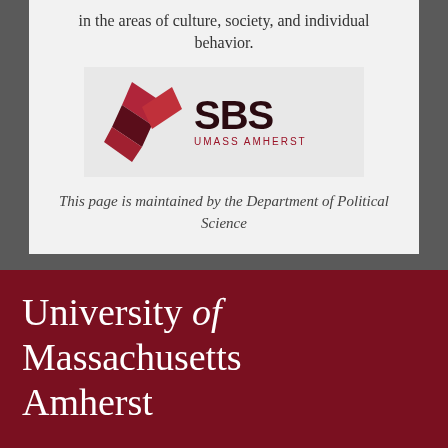in the areas of culture, society, and individual behavior.
[Figure (logo): SBS UMass Amherst logo — geometric red/dark red diamond shape on left, 'SBS' in large dark serif text, 'UMASS AMHERST' in small red text below]
This page is maintained by the Department of Political Science
University of Massachusetts Amherst